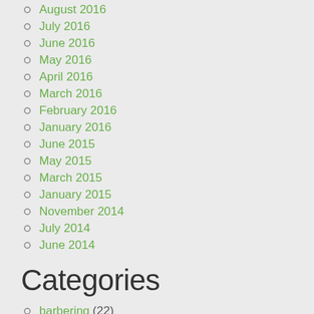August 2016
July 2016
June 2016
May 2016
April 2016
March 2016
February 2016
January 2016
June 2015
May 2015
March 2015
January 2015
November 2014
July 2014
June 2014
Categories
barbering (22)
Beauty (84)
beauty news (50)
Celebrity (27)
Cosmetics (59)